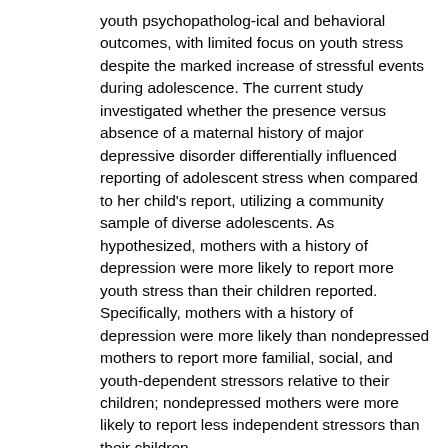youth psychopatholog-ical and behavioral outcomes, with limited focus on youth stress despite the marked increase of stressful events during adolescence. The current study investigated whether the presence versus absence of a maternal history of major depressive disorder differentially influenced reporting of adolescent stress when compared to her child's report, utilizing a community sample of diverse adolescents. As hypothesized, mothers with a history of depression were more likely to report more youth stress than their children reported. Specifically, mothers with a history of depression were more likely than nondepressed mothers to report more familial, social, and youth-dependent stressors relative to their children; nondepressed mothers were more likely to report less independent stressors than their children.
Keywords Maternal depression • Report discrepancy • Adolescence • Stress
I. Daryanani (&) • J. L. Hamilton • B. G. Shapero • T. A. Burke • L. B. Alloy
Department of Psychology, Temple University, 1701 N.